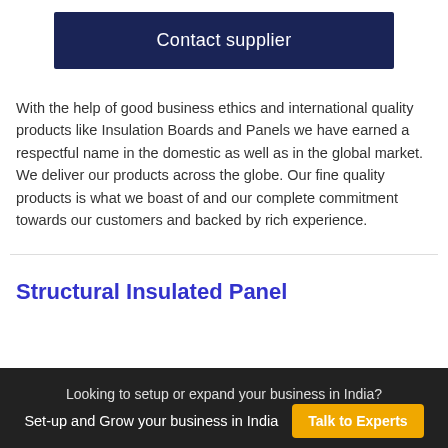[Figure (other): Dark navy blue button labeled 'Contact supplier']
With the help of good business ethics and international quality products like Insulation Boards and Panels we have earned a respectful name in the domestic as well as in the global market. We deliver our products across the globe. Our fine quality products is what we boast of and our complete commitment towards our customers and backed by rich experience.
Structural Insulated Panel
Looking to setup or expand your business in India?
Set-up and Grow your business in India
[Figure (other): Yellow button labeled 'Talk to Experts']